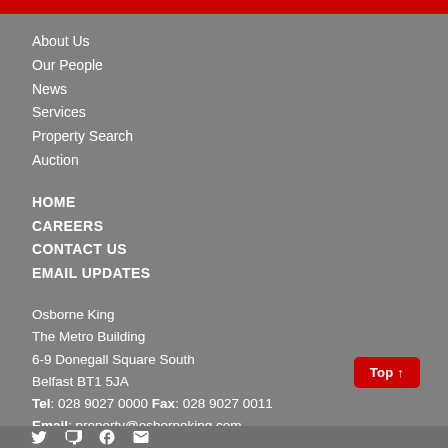About Us
Our People
News
Services
Property Search
Auction
HOME
CAREERS
CONTACT US
EMAIL UPDATES
Osborne King
The Metro Building
6-9 Donegall Square South
Belfast BT1 5JA
Tel: 028 9027 0000 Fax: 028 9027 0011
Email: property@osborneking.com